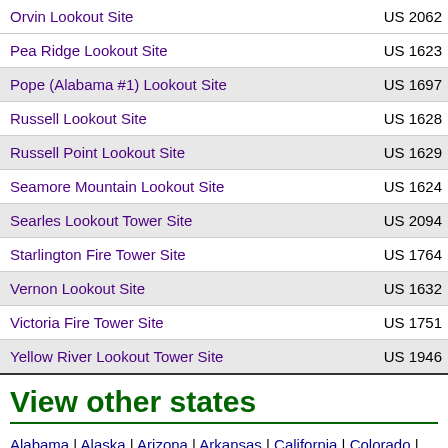| Site Name | ID |
| --- | --- |
| Orvin Lookout Site | US 2062 |
| Pea Ridge Lookout Site | US 1623 |
| Pope (Alabama #1) Lookout Site | US 1697 |
| Russell Lookout Site | US 1628 |
| Russell Point Lookout Site | US 1629 |
| Seamore Mountain Lookout Site | US 1624 |
| Searles Lookout Tower Site | US 2094 |
| Starlington Fire Tower Site | US 1764 |
| Vernon Lookout Site | US 1632 |
| Victoria Fire Tower Site | US 1751 |
| Yellow River Lookout Tower Site | US 1946 |
View other states
Alabama | Alaska | Arizona | Arkansas | California | Colorado | Connecticut | D | Kentucky | Louisiana | Maine | Maryland | Massachusetts | Michigan | Minne Jersey | New Mexico | New York | North Carolina | North Dakota | Ohio | Okla | Tennessee | Texas | Utah | Vermont | Virginia | Washington | West Virginia |